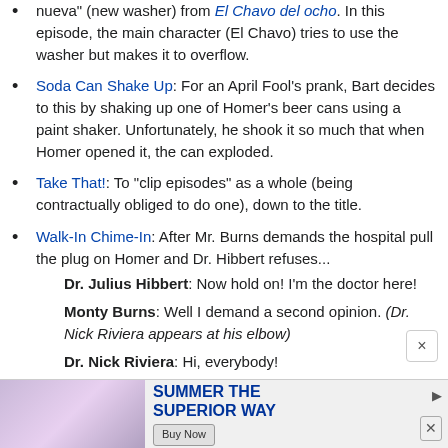nueva (new washer) from El Chavo del ocho. In this episode, the main character (El Chavo) tries to use the washer but makes it to overflow.
Soda Can Shake Up: For an April Fool's prank, Bart decides to this by shaking up one of Homer's beer cans using a paint shaker. Unfortunately, he shook it so much that when Homer opened it, the can exploded.
Take That!: To "clip episodes" as a whole (being contractually obliged to do one), down to the title.
Walk-In Chime-In: After Mr. Burns demands the hospital pull the plug on Homer and Dr. Hibbert refuses...
Dr. Julius Hibbert: Now hold on! I'm the doctor here!
Monty Burns: Well I demand a second opinion. (Dr. Nick Riviera appears at his elbow)
Dr. Nick Riviera: Hi, everybody!
All: Hi, Dr. Nick!
[Figure (photo): Advertisement banner at the bottom of the page showing 'Summer The Superior Way' with a Buy Now button and close/play icons]